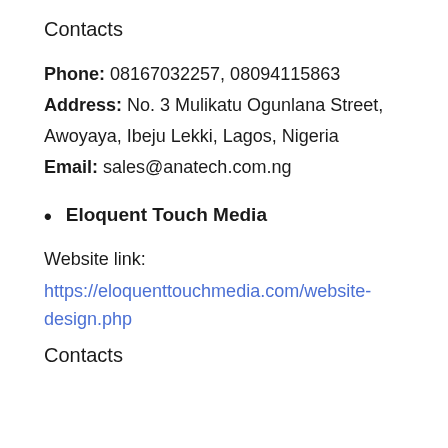Contacts
Phone: 08167032257, 08094115863
Address: No. 3 Mulikatu Ogunlana Street, Awoyaya, Ibeju Lekki, Lagos, Nigeria
Email: sales@anatech.com.ng
Eloquent Touch Media
Website link:
https://eloquenttouchmedia.com/website-design.php
Contacts